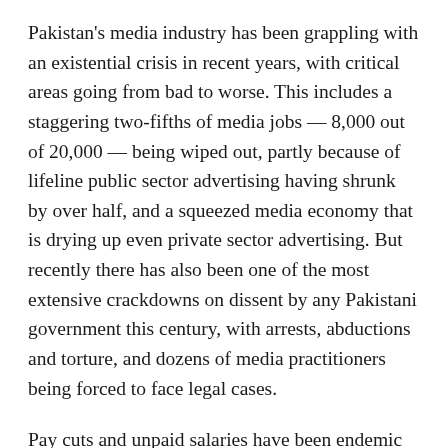Pakistan's media industry has been grappling with an existential crisis in recent years, with critical areas going from bad to worse. This includes a staggering two-fifths of media jobs — 8,000 out of 20,000 — being wiped out, partly because of lifeline public sector advertising having shrunk by over half, and a squeezed media economy that is drying up even private sector advertising. But recently there has also been one of the most extensive crackdowns on dissent by any Pakistani government this century, with arrests, abductions and torture, and dozens of media practitioners being forced to face legal cases.
Pay cuts and unpaid salaries have been endemic recently, and many journalists critical of the government or the establishment have been forced out of jobs and prevented from being employed anywhere. If this were not enough, there's also the broader challenge of narrow media ownership concentration, which threatens to kill diversity and pluralism in opinions, and